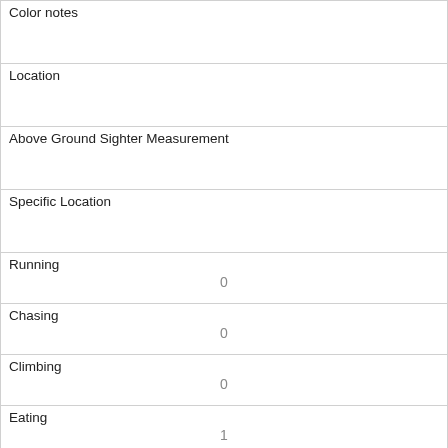| Color notes |  |
| Location |  |
| Above Ground Sighter Measurement |  |
| Specific Location |  |
| Running | 0 |
| Chasing | 0 |
| Climbing | 0 |
| Eating | 1 |
| Foraging | 1 |
| Other Activities |  |
| Kuks |  |